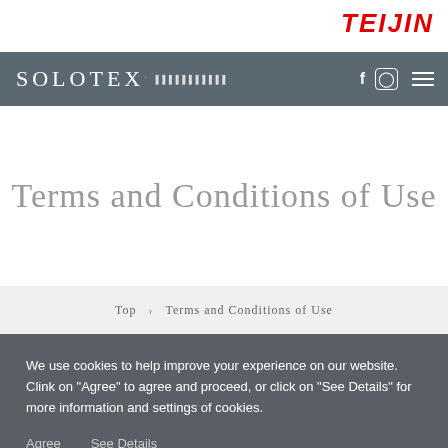[Figure (logo): TEIJIN logo in red italic bold text, top right]
SOLOTEX [Japanese text] / nav icons: Facebook, Instagram, hamburger menu
Terms and Conditions of Use
Top › Terms and Conditions of Use
We use cookies to help improve your experience on our website. Clink on "Agree" to agree and proceed, or click on "See Details" for more information and settings of cookies.
Agree   See Details